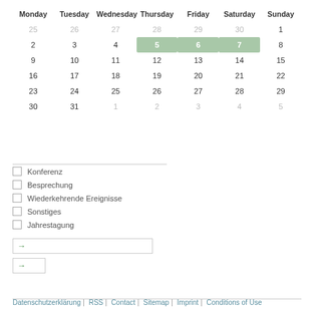| Monday | Tuesday | Wednesday | Thursday | Friday | Saturday | Sunday |
| --- | --- | --- | --- | --- | --- | --- |
| 25 | 26 | 27 | 28 | 29 | 30 | 1 |
| 2 | 3 | 4 | 5 | 6 | 7 | 8 |
| 9 | 10 | 11 | 12 | 13 | 14 | 15 |
| 16 | 17 | 18 | 19 | 20 | 21 | 22 |
| 23 | 24 | 25 | 26 | 27 | 28 | 29 |
| 30 | 31 | 1 | 2 | 3 | 4 | 5 |
Konferenz
Besprechung
Wiederkehrende Ereignisse
Sonstiges
Jahrestagung
Datenschutzerklärung | RSS | Contact | Sitemap | Imprint | Conditions of Use